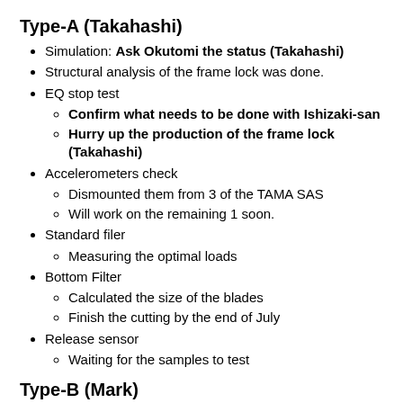Type-A (Takahashi)
Simulation: Ask Okutomi the status (Takahashi)
Structural analysis of the frame lock was done.
EQ stop test
Confirm what needs to be done with Ishizaki-san
Hurry up the production of the frame lock (Takahashi)
Accelerometers check
Dismounted them from 3 of the TAMA SAS
Will work on the remaining 1 soon.
Standard filer
Measuring the optimal loads
Bottom Filter
Calculated the size of the blades
Finish the cutting by the end of July
Release sensor
Waiting for the samples to test
Type-B (Mark)
Type-B Post Week Summary